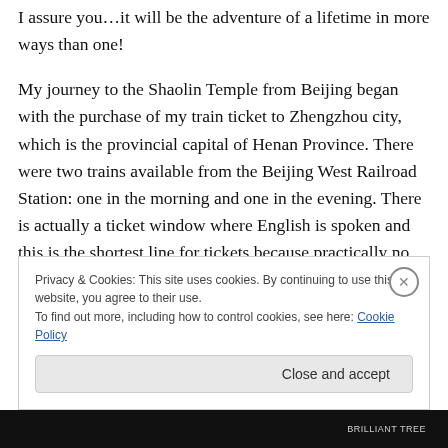I assure you…it will be the adventure of a lifetime in more ways than one!
My journey to the Shaolin Temple from Beijing began with the purchase of my train ticket to Zhengzhou city, which is the provincial capital of Henan Province. There were two trains available from the Beijing West Railroad Station: one in the morning and one in the evening. There is actually a ticket window where English is spoken and this is the shortest line for tickets because practically no one speaks English! Be careful because there are several
Privacy & Cookies: This site uses cookies. By continuing to use this website, you agree to their use.
To find out more, including how to control cookies, see here: Cookie Policy
Close and accept